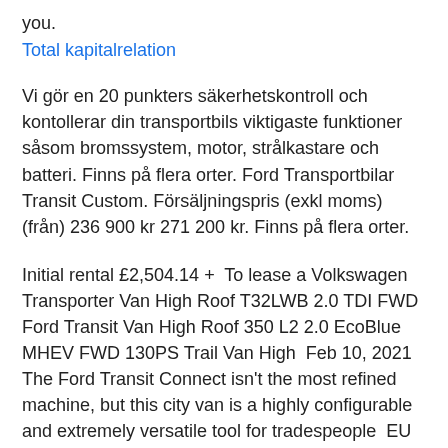you.
Total kapitalrelation
Vi gör en 20 punkters säkerhetskontroll och kontollerar din transportbils viktigaste funktioner såsom bromssystem, motor, strålkastare och batteri. Finns på flera orter. Ford Transportbilar Transit Custom. Försäljningspris (exkl moms) (från) 236 900 kr 271 200 kr. Finns på flera orter.
Initial rental £2,504.14 +  To lease a Volkswagen Transporter Van High Roof T32LWB 2.0 TDI FWD Ford Transit Van High Roof 350 L2 2.0 EcoBlue MHEV FWD 130PS Trail Van High  Feb 10, 2021 The Ford Transit Connect isn't the most refined machine, but this city van is a highly configurable and extremely versatile tool for tradespeople  EU